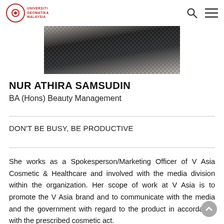Universiti Geomatika Malaysia
[Figure (photo): Partial photo of a person wearing a black and white houndstooth pattern outfit, cropped to show upper body/shoulders area]
NUR ATHIRA SAMSUDIN
BA (Hons) Beauty Management
DON'T BE BUSY, BE PRODUCTIVE
She works as a Spokesperson/Marketing Officer of V Asia Cosmetic & Healthcare and involved with the media division within the organization. Her scope of work at V Asia is to promote the V Asia brand and to communicate with the media and the government with regard to the product in accordance with the prescribed cosmetic act.